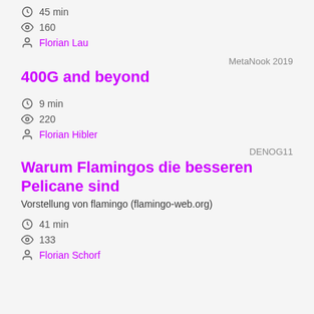45 min
160
Florian Lau
MetaNook 2019
400G and beyond
9 min
220
Florian Hibler
DENOG11
Warum Flamingos die besseren Pelicane sind
Vorstellung von flamingo (flamingo-web.org)
41 min
133
Florian Schorf